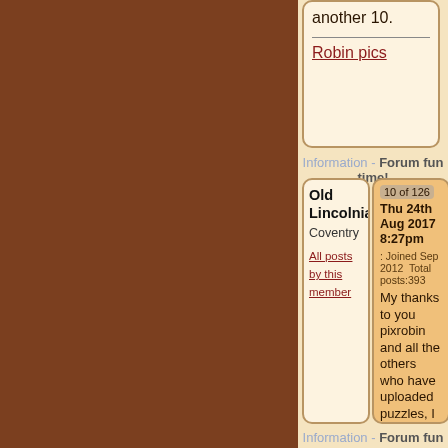another 10.
Robin pics
Information - Forum fun time!
Old Lincolnian
Coventry
All posts by this member
10 of 126  Thu 24th Aug 2017 8:27pm
: Joined Sep 2012  Total posts:393
My thanks to you pixrobin and all the others who have uploaded puzzles, I have spent many a happy hour doing them 🙂
Information - Forum fun time!